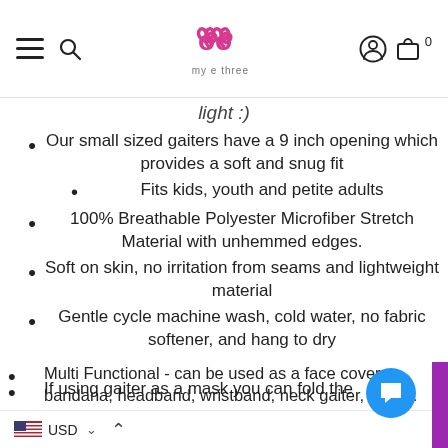my e three
light :)
Our small sized gaiters have a 9 inch opening which provides a soft and snug fit
Fits kids, youth and petite adults
100% Breathable Polyester Microfiber Stretch Material with unhemmed edges.
Soft on skin, no irritation from seams and lightweight material
Gentle cycle machine wash, cold water, no fabric softener, and hang to dry
Multi Functional - can be used as a face cover, bandana, headband, wristband, neck gaiter, ection.  More than 10 ways to wear it. esistant, keeps you warm in the winter and cool in the summer
If using gaiter as a mask you can fold the